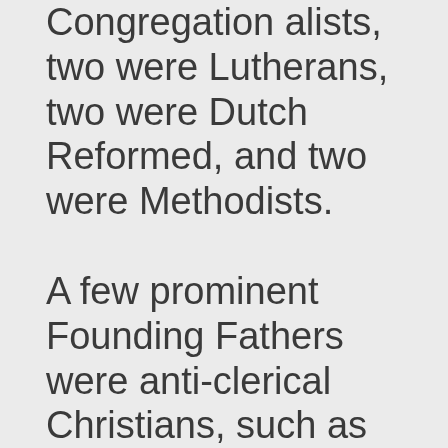Congregationalists, two were Lutherans, two were Dutch Reformed, and two were Methodists.

A few prominent Founding Fathers were anti-clerical Christians, such as